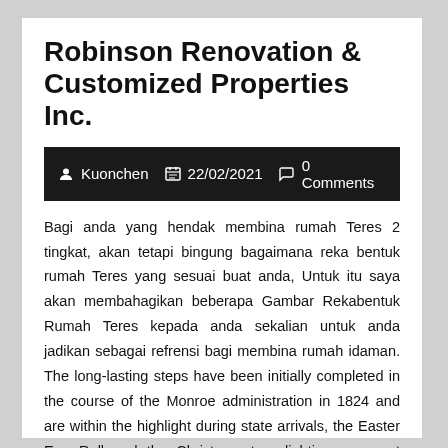Robinson Renovation & Customized Properties Inc.
Kuonchen   22/02/2021   0 Comments
Bagi anda yang hendak membina rumah Teres 2 tingkat, akan tetapi bingung bagaimana reka bentuk rumah Teres yang sesuai buat anda, Untuk itu saya akan membahagikan beberapa Gambar Rekabentuk Rumah Teres kepada anda sekalian untuk anda jadikan sebagai refrensi bagi membina rumah idaman. The long-lasting steps have been initially completed in the course of the Monroe administration in 1824 and are within the highlight during state arrivals, the Easter Egg Roll and the Christmas tree lighting, amongst different key White Home events. The Google Artwork Undertakin a